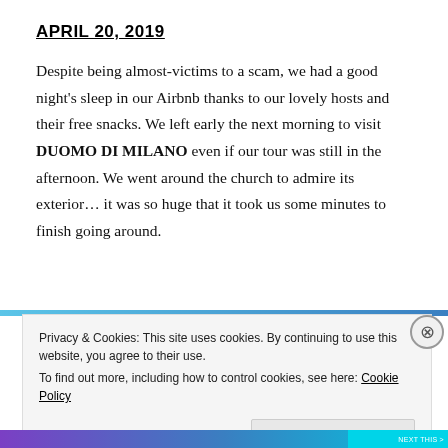APRIL 20, 2019
Despite being almost-victims to a scam, we had a good night's sleep in our Airbnb thanks to our lovely hosts and their free snacks. We left early the next morning to visit DUOMO DI MILANO even if our tour was still in the afternoon. We went around the church to admire its exterior… it was so huge that it took us some minutes to finish going around.
Privacy & Cookies: This site uses cookies. By continuing to use this website, you agree to their use.
To find out more, including how to control cookies, see here: Cookie Policy